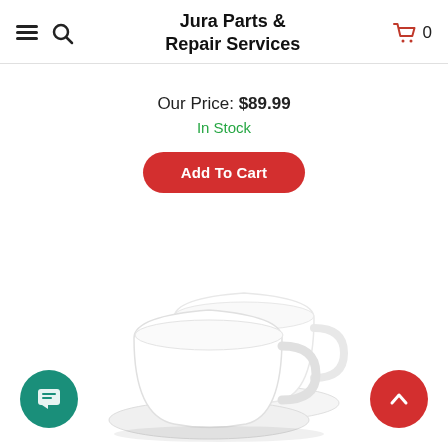Jura Parts & Repair Services
Our Price: $89.99
In Stock
Add To Cart
[Figure (photo): Two white ceramic coffee cups with saucers, stacked slightly offset, product photo on white background]